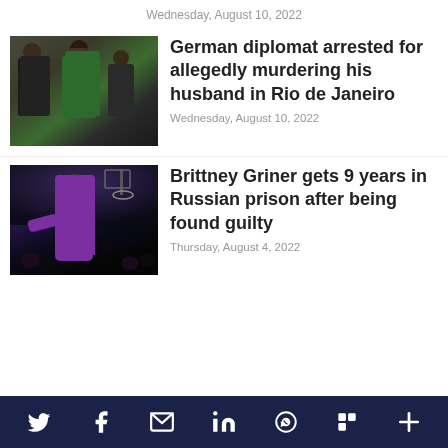Wednesday, August 10, 2022
[Figure (photo): Photo of a man being escorted by officers, arrest scene]
German diplomat arrested for allegedly murdering his husband in Rio de Janeiro
Wednesday, August 10, 2022
[Figure (photo): Photo of Brittney Griner in basketball uniform running on court]
Brittney Griner gets 9 years in Russian prison after being found guilty
Thursday, August 4, 2022
Social share icons: Twitter, Facebook, Email, LinkedIn, WhatsApp, Flipboard, More